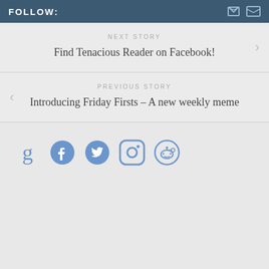FOLLOW:
NEXT STORY
Find Tenacious Reader on Facebook!
PREVIOUS STORY
Introducing Friday Firsts – A new weekly meme
[Figure (other): Social media icons: Goodreads, Facebook, Twitter, Instagram, Reddit]